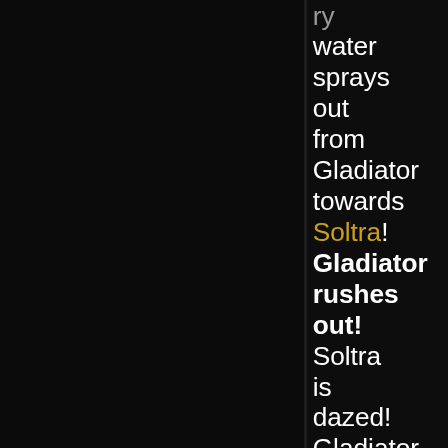water sprays out from Gladiator towards Soltra! Gladiator rushes out! Soltra is dazed! Gladiator hits Soltra for 23 cold, 32 physical (55